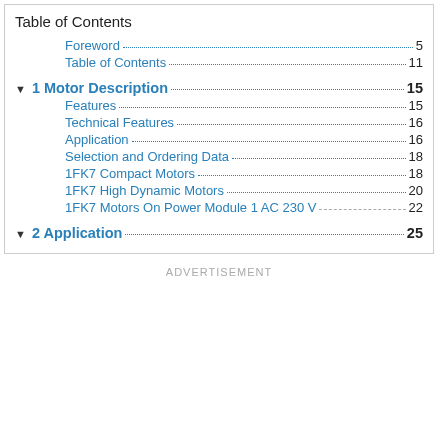Table of Contents
Foreword ... 5
Table of Contents ... 11
1 Motor Description ... 15
Features ... 15
Technical Features ... 16
Application ... 16
Selection and Ordering Data ... 18
1FK7 Compact Motors ... 18
1FK7 High Dynamic Motors ... 20
1FK7 Motors On Power Module 1 AC 230 V ... 22
2 Application ... 25
ADVERTISEMENT